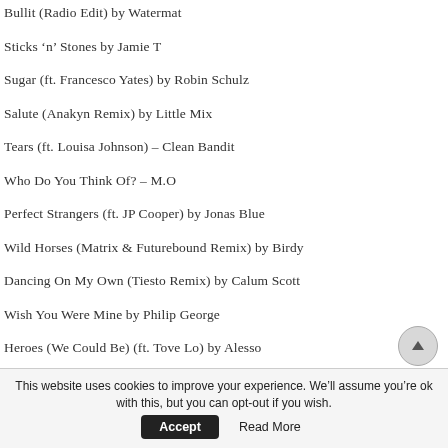Bullit (Radio Edit) by Watermat
Sticks 'n' Stones by Jamie T
Sugar (ft. Francesco Yates) by Robin Schulz
Salute (Anakyn Remix) by Little Mix
Tears (ft. Louisa Johnson) – Clean Bandit
Who Do You Think Of? – M.O
Perfect Strangers (ft. JP Cooper) by Jonas Blue
Wild Horses (Matrix & Futurebound Remix) by Birdy
Dancing On My Own (Tiesto Remix) by Calum Scott
Wish You Were Mine by Philip George
Heroes (We Could Be) (ft. Tove Lo) by Alesso
Cool For The Summer by Demi Lovato
Peanut Butter Jelly by Galantis
The Night by ...
This website uses cookies to improve your experience. We'll assume you're ok with this, but you can opt-out if you wish.